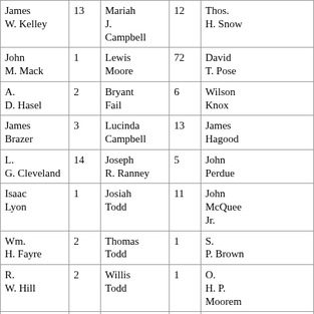| James W. Kelley | 13 | Mariah J. Campbell | 12 | Thos. H. Snow |
| John M. Mack | 1 | Lewis Moore | 72 | David T. Pose |
| A. D. Hasel | 2 | Bryant Fail | 6 | Wilson Knox |
| James Brazer | 3 | Lucinda Campbell | 13 | James Hagood |
| L. G. Cleveland | 14 | Joseph R. Ranney | 5 | John Perdue |
| Isaac Lyon | 1 | Josiah Todd | 11 | John McQuee Jr. |
| Wm. H. Fayre | 2 | Thomas Todd | 1 | S. P. Brown |
| R. W. Hill | 2 | Willis Todd | 1 | O. H. P. Moorem |
| W. B. Haralow | 55 | John M. Pearce | 25 | Jas. sli |
| John | 5 | Ann | 33 | John |